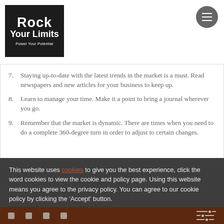Rock Your Limits – Power Your Potential
7. Staying up-to-date with the latest trends in the market is a must. Read newspapers and new articles for your business to keep up.
8. Learn to manage your time. Make it a point to bring a journal wherever you go.
9. Remember that the market is dynamic. There are times when you need to do a complete 360-degree turn in order to adjust to certain changes.
This website uses cookies to give you the best experience, click the word cookies to view the cookie and policy page. Using this website means you agree to the privacy policy. You can agree to our cookie policy by clicking the 'Accept' button.
Social links and controls